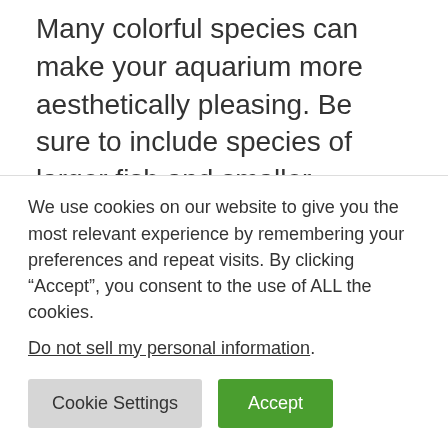Many colorful species can make your aquarium more aesthetically pleasing. Be sure to include species of larger fish and smaller schooling fish. Guppies are a popular schooling mid-level fish. Pick your bottom-level fish to help clean material from the substrate.
How much money do aquarists make?
We use cookies on our website to give you the most relevant experience by remembering your preferences and repeat visits. By clicking “Accept”, you consent to the use of ALL the cookies.
Do not sell my personal information.